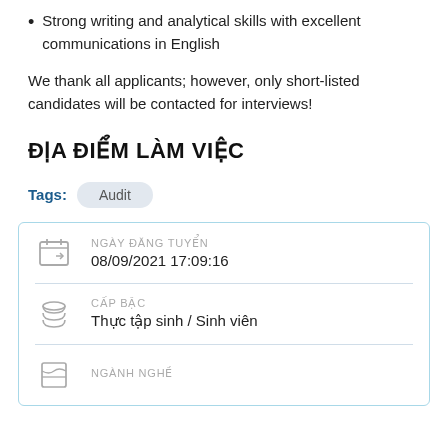Strong writing and analytical skills with excellent communications in English
We thank all applicants; however, only short-listed candidates will be contacted for interviews!
ĐỊA ĐIỂM LÀM VIỆC
Tags: Audit
| Icon | Label | Value |
| --- | --- | --- |
| calendar | NGÀY ĐĂNG TUYỂN | 08/09/2021 17:09:16 |
| layers | CẤP BẬC | Thực tập sinh / Sinh viên |
| inbox | NGÀNH NGHỀ |  |